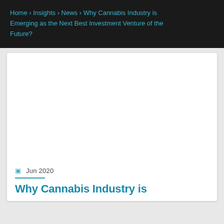Home › Insights › News › Why Cannabis Industry is Emerging as the Next Best Investment Venture of the Future?
[Figure (photo): Large white/blank image placeholder area within an article card]
Jun 2020
Why Cannabis Industry is